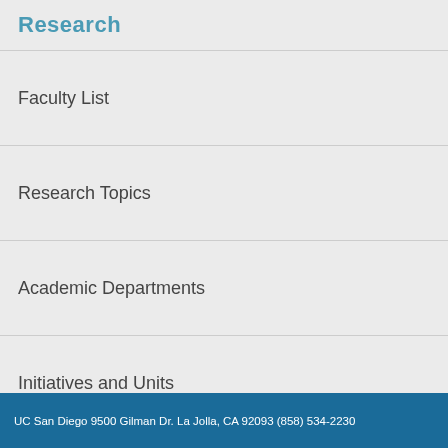Research
Faculty List
Research Topics
Academic Departments
Initiatives and Units
Facilities and Resources
UC San Diego 9500 Gilman Dr. La Jolla, CA 92093 (858) 534-2230